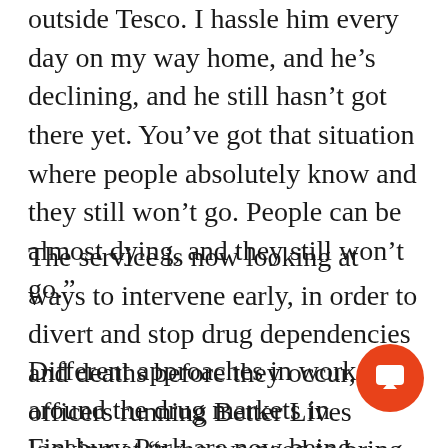outside Tesco. I hassle him every day on my way home, and he's declining, and he still hasn't got there yet. You've got that situation where people absolutely know and they still won't go. People can be almost dying, and they still won't go."
The service is now looking at ways to intervene early, in order to divert and stop drug dependencies and deaths before they occur, with officers running Better Lives looking at “who we need to bring around the table” to ensure the work gets done.
Different approaches in work around the drug markets in Finsbury Park are now being looked at by the service, with Better Lives increasingly looking at ways not just to work